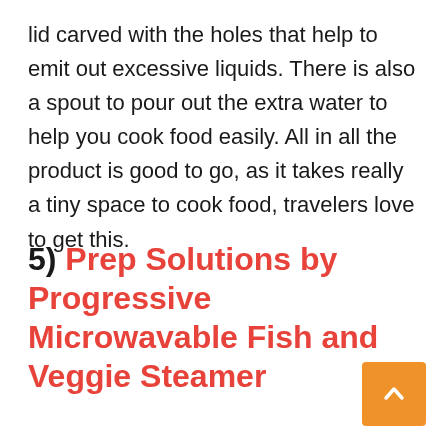lid carved with the holes that help to emit out excessive liquids. There is also a spout to pour out the extra water to help you cook food easily. All in all the product is good to go, as it takes really a tiny space to cook food, travelers love to get this.
5) Prep Solutions by Progressive Microwavable Fish and Veggie Steamer